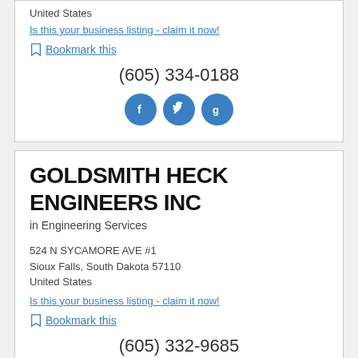United States
Is this your business listing - claim it now!
Bookmark this
(605) 334-0188
[Figure (infographic): Three blue circular social media icons: Facebook (f), Twitter (bird), Google (g)]
GOLDSMITH HECK ENGINEERS INC
in Engineering Services
524 N SYCAMORE AVE #1
Sioux Falls, South Dakota 57110
United States
Is this your business listing - claim it now!
Bookmark this
(605) 332-9685
[Figure (infographic): Three blue circular social media icons: Facebook (f), Twitter (bird), Google (g) — partially visible at bottom]